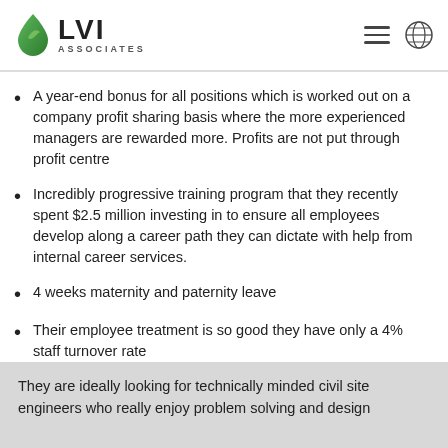LVI Associates
A year-end bonus for all positions which is worked out on a company profit sharing basis where the more experienced managers are rewarded more. Profits are not put through profit centre
Incredibly progressive training program that they recently spent $2.5 million investing in to ensure all employees develop along a career path they can dictate with help from internal career services.
4 weeks maternity and paternity leave
Their employee treatment is so good they have only a 4% staff turnover rate
They are ideally looking for technically minded civil site engineers who really enjoy problem solving and design